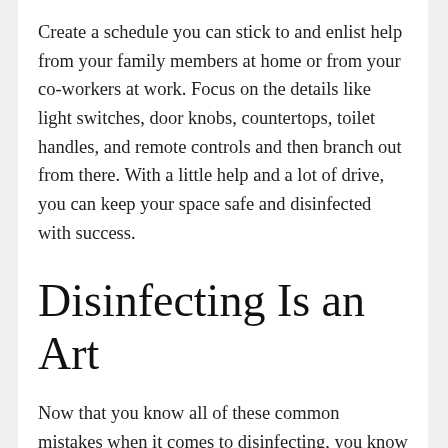Create a schedule you can stick to and enlist help from your family members at home or from your co-workers at work. Focus on the details like light switches, door knobs, countertops, toilet handles, and remote controls and then branch out from there. With a little help and a lot of drive, you can keep your space safe and disinfected with success.
Disinfecting Is an Art
Now that you know all of these common mistakes when it comes to disinfecting, you know what not to do when it comes to making your